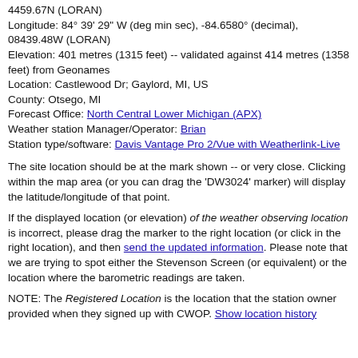4459.67N (LORAN)
Longitude: 84° 39' 29" W (deg min sec), -84.6580° (decimal), 08439.48W (LORAN)
Elevation: 401 metres (1315 feet) -- validated against 414 metres (1358 feet) from Geonames
Location: Castlewood Dr; Gaylord, MI, US
County: Otsego, MI
Forecast Office: North Central Lower Michigan (APX)
Weather station Manager/Operator: Brian
Station type/software: Davis Vantage Pro 2/Vue with Weatherlink-Live
The site location should be at the mark shown -- or very close. Clicking within the map area (or you can drag the 'DW3024' marker) will display the latitude/longitude of that point.
If the displayed location (or elevation) of the weather observing location is incorrect, please drag the marker to the right location (or click in the right location), and then send the updated information. Please note that we are trying to spot either the Stevenson Screen (or equivalent) or the location where the barometric readings are taken.
NOTE: The Registered Location is the location that the station owner provided when they signed up with CWOP. Show location history